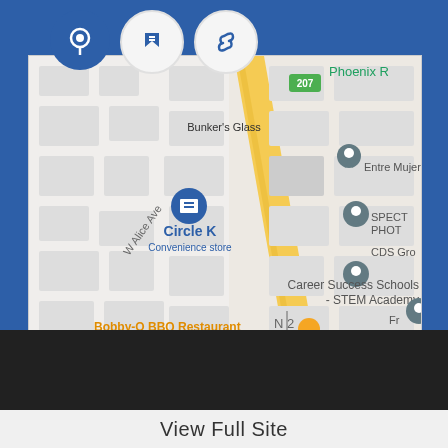[Figure (screenshot): Google Maps screenshot showing a neighborhood in Phoenix area. Visible landmarks include Bunker's Glass, Circle K Convenience store, Career Success Schools - STEM Academy, Entre Mujer, SPECT PHOT, CDS Gro, Bobby-O BBQ Restaurant, W Alice Ave street, Phoenix R text, route 207 marker. A yellow diagonal road runs through the center. Three circular icon buttons appear at the top: a dark blue location pin icon, a white thumbtack/pin icon, and a white chain-link icon.]
View Full Site